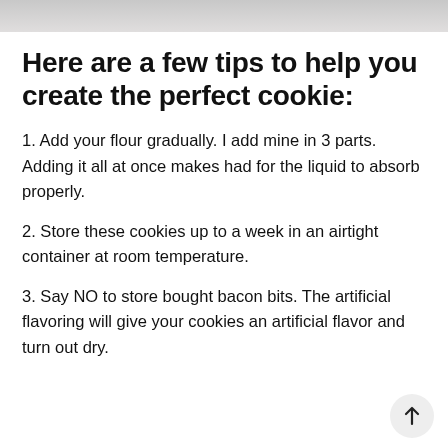[Figure (photo): Partial photo strip at the top of the page, showing a light gray/white textured background, likely a food or baking surface.]
Here are a few tips to help you create the perfect cookie:
1. Add your flour gradually. I add mine in 3 parts. Adding it all at once makes had for the liquid to absorb properly.
2. Store these cookies up to a week in an airtight container at room temperature.
3. Say NO to store bought bacon bits. The artificial flavoring will give your cookies an artificial flavor and turn out dry.